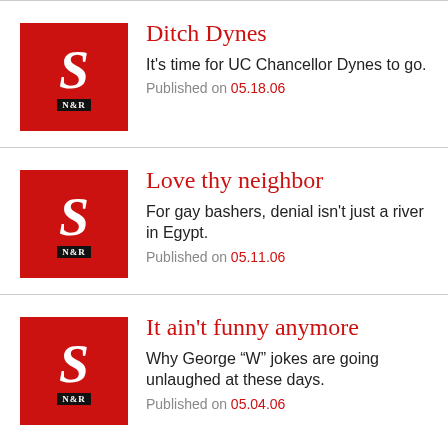Ditch Dynes
It's time for UC Chancellor Dynes to go.
Published on 05.18.06
Love thy neighbor
For gay bashers, denial isn't just a river in Egypt.
Published on 05.11.06
It ain't funny anymore
Why George “W” jokes are going unlaughed at these days.
Published on 05.04.06